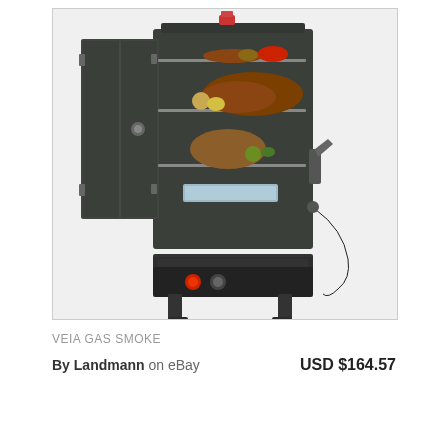[Figure (photo): A gas smoker (VEIA GAS SMOKE by Landmann) with its door open, showing multiple wire racks loaded with various meats and vegetables. The smoker is dark gray/black in color, has drawers at the bottom, a gas hose on the right side, and feet/legs at the base. The interior shows smoked chicken, brisket, ribs, and vegetables on the shelves.]
VEIA GAS SMOKE
By Landmann on eBay    USD $164.57